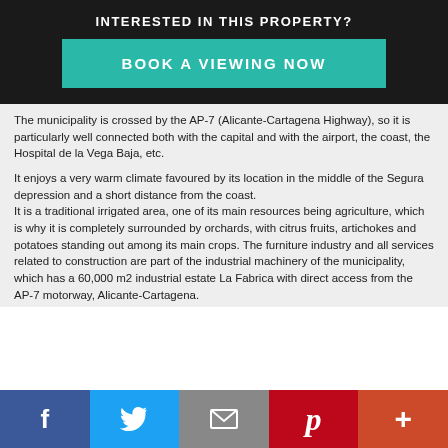INTERESTED IN THIS PROPERTY?
BOOK A VIEWING NOW
The municipality is crossed by the AP-7 (Alicante-Cartagena Highway), so it is particularly well connected both with the capital and with the airport, the coast, the Hospital de la Vega Baja, etc.
It enjoys a very warm climate favoured by its location in the middle of the Segura depression and a short distance from the coast.
It is a traditional irrigated area, one of its main resources being agriculture, which is why it is completely surrounded by orchards, with citrus fruits, artichokes and potatoes standing out among its main crops. The furniture industry and all services related to construction are part of the industrial machinery of the municipality, which has a 60,000 m2 industrial estate La Fabrica with direct access from the AP-7 motorway, Alicante-Cartagena.